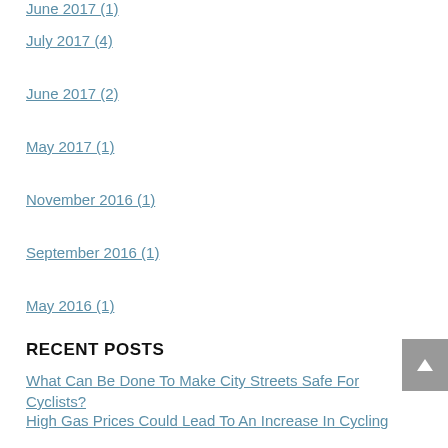June 2017 (1)
July 2017 (4)
June 2017 (2)
May 2017 (1)
November 2016 (1)
September 2016 (1)
May 2016 (1)
RECENT POSTS
What Can Be Done To Make City Streets Safe For Cyclists?
High Gas Prices Could Lead To An Increase In Cycling
Why Bike Lane Posts Really Work